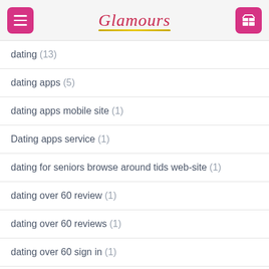Glamours
dating (13)
dating apps (5)
dating apps mobile site (1)
Dating apps service (1)
dating for seniors browse around tids web-site (1)
dating over 60 review (1)
dating over 60 reviews (1)
dating over 60 sign in (1)
dating site (12)
Dating Websites Best (1)